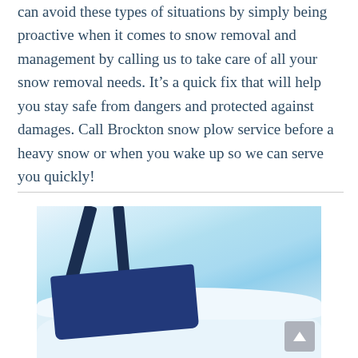can avoid these types of situations by simply being proactive when it comes to snow removal and management by calling us to take care of all your snow removal needs. It's a quick fix that will help you stay safe from dangers and protected against damages. Call Brockton snow plow service before a heavy snow or when you wake up so we can serve you quickly!
[Figure (photo): Photo of a blue snow shovel pushing snow on a snowy white ground, viewed from above and slightly to the side.]